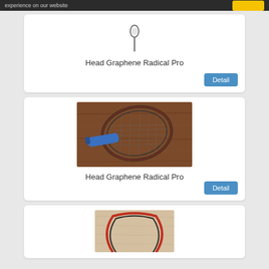experience on our website
[Figure (photo): Tennis racket shown vertically (handle visible) in a white product listing card]
Head Graphene Radical Pro
[Figure (photo): Tennis racket with blue handle lying on a wooden surface, orange/red frame]
Head Graphene Radical Pro
[Figure (photo): Tennis racket frame (top portion) resting on a beige/tan fabric surface]